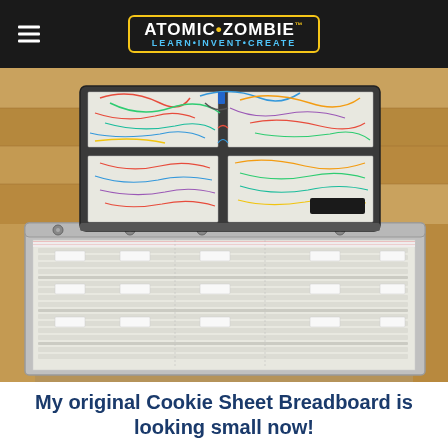ATOMIC·ZOMBIE™ LEARN·INVENT·CREATE
[Figure (photo): Photo showing a large aluminum-framed breadboard laid flat on a wood floor, with a smaller cookie sheet breadboard covered in wires and components placed on top of it. The large breadboard has multiple solderless breadboard strips mounted inside an aluminum tray with corner knobs. The smaller original cookie sheet breadboard sits behind/on top, packed with electronic components and colorful wires.]
My original Cookie Sheet Breadboard is looking small now!